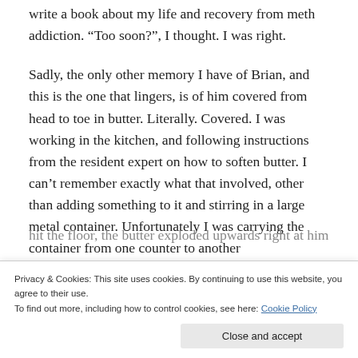write a book about my life and recovery from meth addiction. “Too soon?”, I thought. I was right.
Sadly, the only other memory I have of Brian, and this is the one that lingers, is of him covered from head to toe in butter. Literally. Covered. I was working in the kitchen, and following instructions from the resident expert on how to soften butter. I can’t remember exactly what that involved, other than adding something to it and stirring in a large metal container. Unfortunately I was carrying the container from one counter to another
hit the floor, the butter exploded upwards right at him,
Privacy & Cookies: This site uses cookies. By continuing to use this website, you agree to their use.
To find out more, including how to control cookies, see here: Cookie Policy